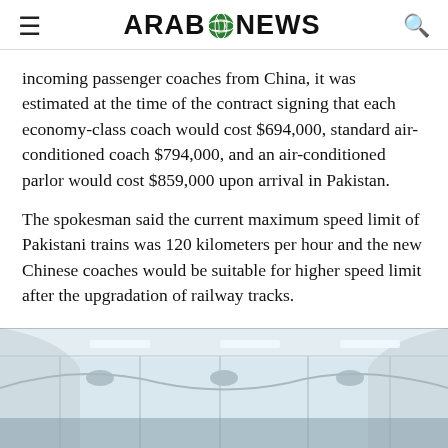ARAB NEWS
incoming passenger coaches from China, it was estimated at the time of the contract signing that each economy-class coach would cost $694,000, standard air-conditioned coach $794,000, and an air-conditioned parlor would cost $859,000 upon arrival in Pakistan.
The spokesman said the current maximum speed limit of Pakistani trains was 120 kilometers per hour and the new Chinese coaches would be suitable for higher speed limit after the upgradation of railway tracks.
[Figure (photo): Interior ceiling of a passenger train coach showing overhead panels, lights and air conditioning vents in white/grey tones]